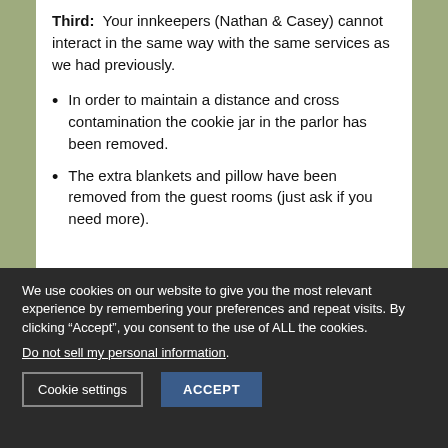Third: Your innkeepers (Nathan & Casey) cannot interact in the same way with the same services as we had previously.
In order to maintain a distance and cross contamination the cookie jar in the parlor has been removed.
The extra blankets and pillow have been removed from the guest rooms (just ask if you need more).
We use cookies on our website to give you the most relevant experience by remembering your preferences and repeat visits. By clicking "Accept", you consent to the use of ALL the cookies.
Do not sell my personal information.